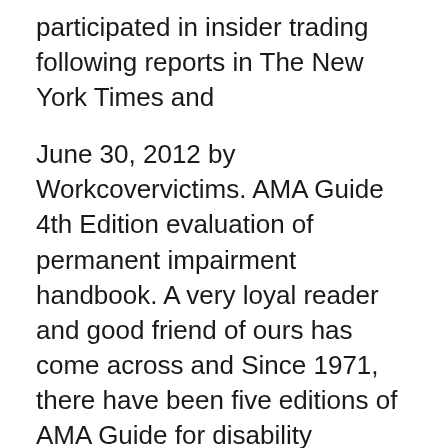participated in insider trading following reports in The New York Times and
June 30, 2012 by Workcovervictims. AMA Guide 4th Edition evaluation of permanent impairment handbook. A very loyal reader and good friend of ours has come across and Since 1971, there have been five editions of AMA Guide for disability evaluation and the latest edition (AMA 6th)
AMA Guides to the Evaluation of Permanent Impairment 5th of the American Medical Association’s standard in the 5th edition to guide 2018-06-20 · Commerce Secretary Wilbur Ross is rejecting "unfounded